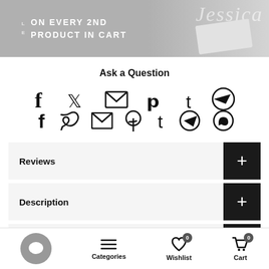[Figure (photo): Banner image with text 'ON EVERY 2ND PRODUCT IN CART' and cursive text overlay, with product image on right]
Ask a Question
[Figure (infographic): Social sharing icons: Facebook, Twitter, Email, Pinterest, Tumblr, Telegram, WhatsApp]
Reviews
Description
Find Your Size
Shipping & Handling
Categories  Wishlist 0  Cart 0